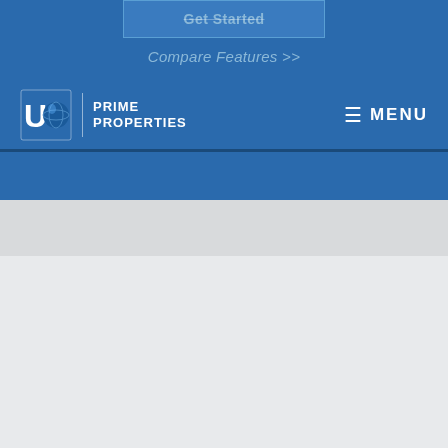[Figure (screenshot): A partially visible website navigation screenshot showing a blue header bar with a 'Get Started' button outline, 'Compare Features >>' link text, and a navigation bar containing the UFO Prime Properties logo on the left and a hamburger menu 'MENU' button on the right. Below the blue section is a light grey content area transitioning to white.]
MENU
Get Started
Compare Features >>
PRIME PROPERTIES